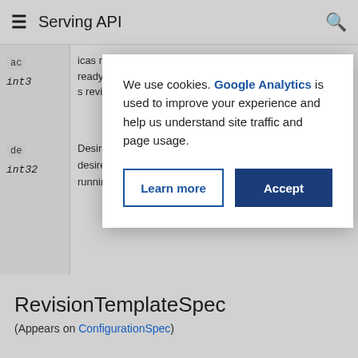Serving API
ac
int3
(partially visible behind modal)
de
int32
DesiredReplicas
desired amount
running this revi
[Figure (screenshot): Cookie consent modal dialog. Text reads: 'We use cookies. Google Analytics is used to improve your experience and help us understand site traffic and page usage.' Two buttons: 'Learn more' (outlined blue) and 'Accept' (filled dark blue).]
RevisionTemplateSpec
(Appears on ConfigurationSpec)